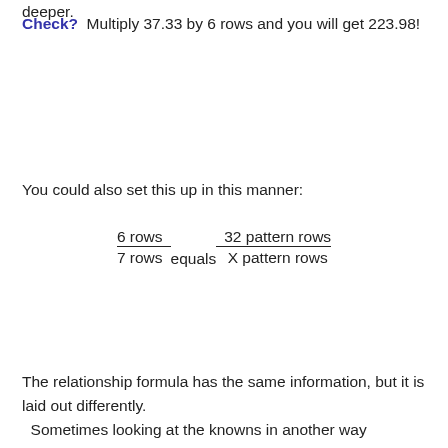deeper.
Check?  Multiply 37.33 by 6 rows and you will get 223.98!
You could also set this up in this manner:
The relationship formula has the same information, but it is laid out differently. Sometimes looking at the knowns in another way...